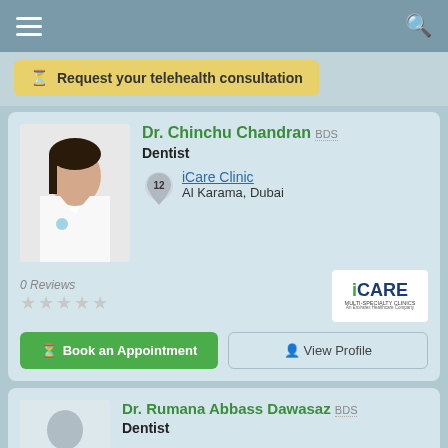[Figure (screenshot): Mobile app top navigation bar with hamburger menu and search icon]
Request your telehealth consultation
[Figure (photo): Dr. Chinchu Chandran, female doctor in white coat]
Dr. Chinchu Chandran BDS
Dentist
iCare Clinic
Al Karama, Dubai
0 Reviews
[Figure (logo): iCARE Multi-Specialty Clinics logo]
Book an Appointment
View Profile
[Figure (photo): Default silhouette avatar for Dr. Rumana Abbass Dawasaz]
Dr. Rumana Abbass Dawasaz BDS
Dentist